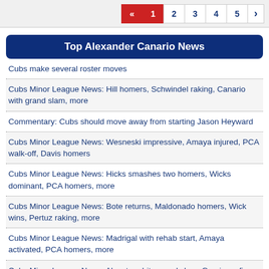« 1 2 3 4 5 (pagination)
Top Alexander Canario News
Cubs make several roster moves
Cubs Minor League News: Hill homers, Schwindel raking, Canario with grand slam, more
Commentary: Cubs should move away from starting Jason Heyward
Cubs Minor League News: Wesneski impressive, Amaya injured, PCA walk-off, Davis homers
Cubs Minor League News: Hicks smashes two homers, Wicks dominant, PCA homers, more
Cubs Minor League News: Bote returns, Maldonado homers, Wick wins, Pertuz raking, more
Cubs Minor League News: Madrigal with rehab start, Amaya activated, PCA homers, more
Cubs Minor League News: Alcantara hits grand slam, Garcia on fire, Ball with six RBIs
Cubs Minor League News: Frank Schwindel homers, Wicks with 10Ks, PCA homers, more